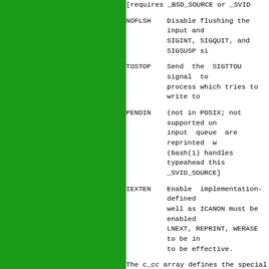[requires _BSD_SOURCE or _SVID...
NOFLSH  Disable flushing the input and ... SIGINT, SIGQUIT, and SIGSUSP si...
TOSTOP  Send the SIGTTOU signal to ... process which tries to write to...
PENDIN  (not in POSIX; not supported un... input queue are reprinted w... (bash(1) handles typeahead this... _SVID_SOURCE]
IEXTEN  Enable implementation-defined ... well as ICANON must be enabled ... LNEXT, REPRINT, WERASE to be in... to be effective.
The c_cc array defines the special con... indices (initial values) and meaning a...
VINTR  (003, ETX, Ctrl-C, or also 017... ter. Send a SIGINT signal. Re... then not passed as input.
VQUIT  (034, FS, Ctrl-\) Quit charact... nized when ISIG is set, and the...
VERASE (0177, DEL, rubout, or 010, BS,... ter. This erases the previ...